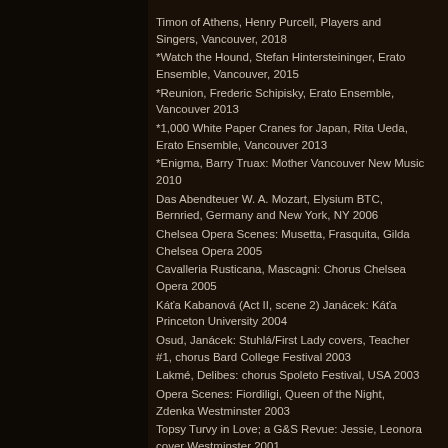Timon of Athens, Henry Purcell, Players and Singers, Vancouver, 2018
*Watch the Hound, Stefan Hintersteininger, Erato Ensemble, Vancouver, 2015
*Reunion, Frederic Schipisky, Erato Ensemble, Vancouver 2013
*1,000 White Paper Cranes for Japan, Rita Ueda, Erato Ensemble, Vancouver 2013
*Enigma, Barry Truax: Mother Vancouver New Music 2010
Das Abendteuer W. A. Mozart, Elysium BTC, Bernried, Germany and New York, NY 2006
Chelsea Opera Scenes: Musetta, Frasquita, Gilda Chelsea Opera 2005
Cavalleria Rusticana, Mascagni: Chorus Chelsea Opera 2005
Káťa Kabanová (Act II, scene 2) Janácek: Káťa Princeton University 2004
Osud, Janácek: Stuhlá/First Lady covers, Teacher #1, chorus Bard College Festival 2003
Lakmé, Delibes: chorus Spoleto Festival, USA 2003
Opera Scenes: Fiordiligi, Queen of the Night, Zdenka Westminster 2003
Topsy Turvy in Love; a G&S Revue: Jessie, Leonora cover Westminster 2001
Opera Scenes: Susanna, Gretel Indiana University 2001